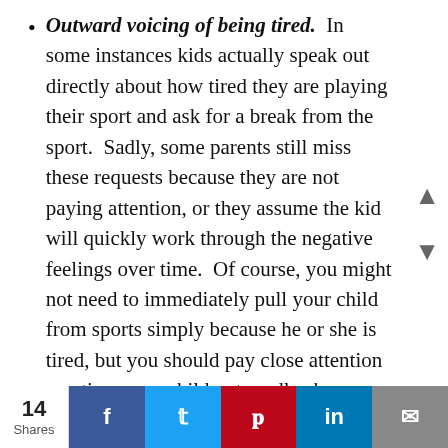Outward voicing of being tired. In some instances kids actually speak out directly about how tired they are playing their sport and ask for a break from the sport. Sadly, some parents still miss these requests because they are not paying attention, or they assume the kid will quickly work through the negative feelings over time. Of course, you might not need to immediately pull your child from sports simply because he or she is tired, but you should pay close attention any time your child outwardly shares a serious concern.
What to do next
The simple advice is if you think your child is becoming burned out from sports, it may be time to take a break. When kids no longer find sports fun and instead begin to